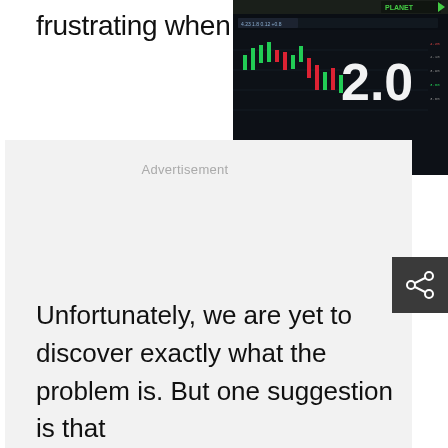frustrating when all that ha
[Figure (screenshot): Screenshot of a trading platform showing a stock chart with candlesticks and a large '2.0' overlay, with green and red price movements visible. Small text at the bottom reads 'planetfinance' and a URL.]
Advertisement
Unfortunately, we are yet to discover exactly what the problem is. But one suggestion is that